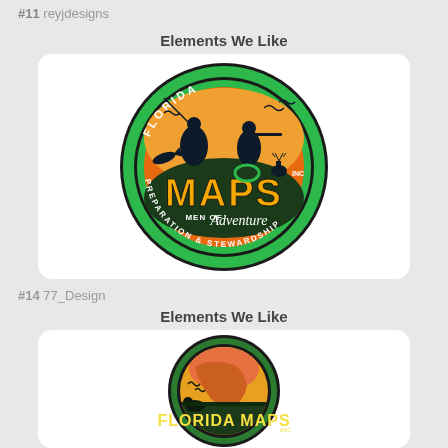#11 reyjdesigns
Elements We Like
[Figure (logo): Florida MAPS Inc. circular logo with green border. Features silhouettes of a fisherman and hunter in action, birds, fish, and deer against an orange/sunset background. Bold orange text 'MAPS' in center, 'Florida' arched at top, 'Men of Adventure' in script, 'Preparation & Stewardship' curved at bottom.]
#14 77_Design
Elements We Like
[Figure (logo): Florida MAPS Inc. circular logo with green/dark border. Features silhouettes of wildlife including a deer and birds against an orange/yellow sunset background showing the Florida state shape. Bold yellow text 'FLORIDA MAPS' at bottom with 'INC' small text.]